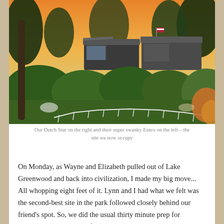[Figure (photo): Outdoor campground scene at sunset/dusk. RVs visible among lush green trees and shrubs. A white fence in the foreground. A Dutch Star RV on the right and an Essex RV on the left. Garden plants with orange autumn leaves on far right. Sky is golden-pink.]
Our Dutch Star on the right and their super swanky Essex on the left – the site we now occupy
On Monday, as Wayne and Elizabeth pulled out of Lake Greenwood and back into civilization, I made my big move... All whopping eight feet of it. Lynn and I had what we felt was the second-best site in the park followed closely behind our friend's spot. So, we did the usual thirty minute prep for departure... backed out of our site....and right into the one next door. Now, we are in the best site in the park, sitting on